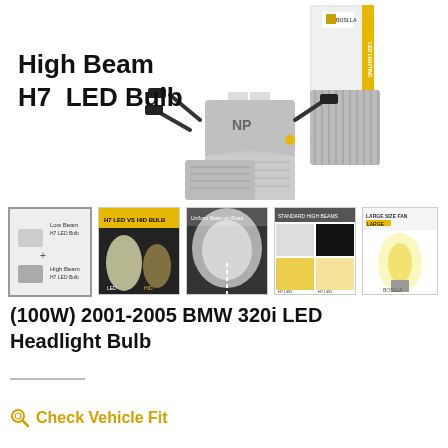[Figure (photo): Main product photo showing H7 LED bulbs with packaging. Text 'High Beam H7 LED Bulb' overlaid on left side. BOSLLA branded box and LED bulb hardware visible on right.]
[Figure (photo): Thumbnail strip of 5 product images showing LED bulb comparisons, beam patterns, and size charts]
(100W) 2001-2005 BMW 320i LED Headlight Bulb
Check Vehicle Fit